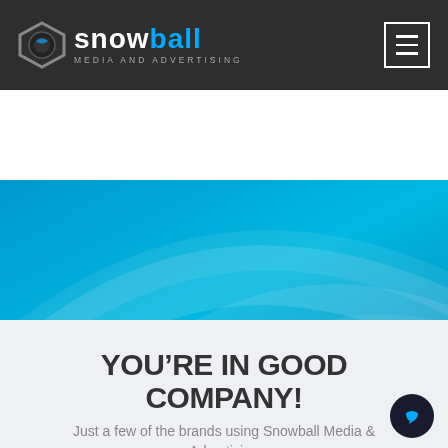snowball MEDIA AND ADVERTISING
[Figure (screenshot): Blue hero banner section with decorative swoosh/arc lines in lighter blue, and four diamond/rhombus outline indicators centered near the bottom of the hero area, suggesting a carousel slideshow.]
YOU’RE IN GOOD COMPANY!
Just a few of the brands using Snowball Media & Advertising